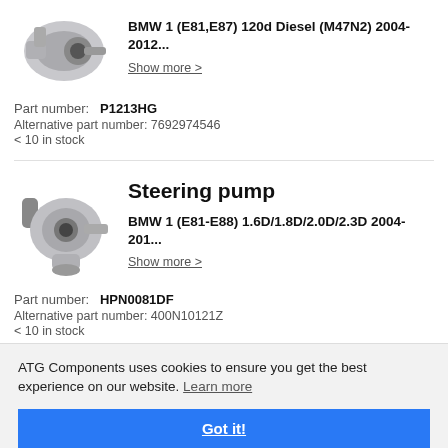[Figure (photo): Steering pump part image, gray metal component]
BMW 1 (E81,E87) 120d Diesel (M47N2) 2004-2012...
Show more >
Part number: P1213HG
Alternative part number: 7692974546
< 10 in stock
Steering pump
[Figure (photo): Steering pump part image, silver/gray metal component]
BMW 1 (E81-E88) 1.6D/1.8D/2.0D/2.3D 2004-201...
Show more >
Part number: HPN0081DF
Alternative part number: 400N10121Z
< 10 in stock
[Figure (photo): Steering pump part image, yellow/gray metal component at bottom]
ATG Components uses cookies to ensure you get the best experience on our website. Learn more
Got it!